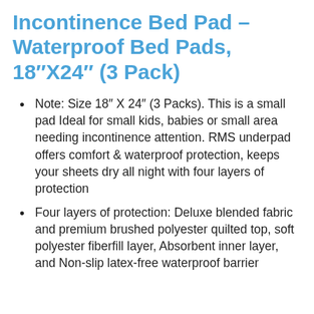Incontinence Bed Pad – Waterproof Bed Pads, 18″X24″ (3 Pack)
Note: Size 18″ X 24″ (3 Packs). This is a small pad Ideal for small kids, babies or small area needing incontinence attention. RMS underpad offers comfort & waterproof protection, keeps your sheets dry all night with four layers of protection
Four layers of protection: Deluxe blended fabric and premium brushed polyester quilted top, soft polyester fiberfill layer, Absorbent inner layer, and Non-slip latex-free waterproof barrier